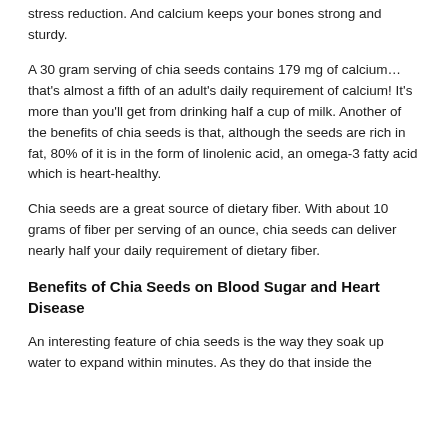stress reduction. And calcium keeps your bones strong and sturdy.
A 30 gram serving of chia seeds contains 179 mg of calcium… that's almost a fifth of an adult's daily requirement of calcium! It's more than you'll get from drinking half a cup of milk. Another of the benefits of chia seeds is that, although the seeds are rich in fat, 80% of it is in the form of linolenic acid, an omega-3 fatty acid which is heart-healthy.
Chia seeds are a great source of dietary fiber. With about 10 grams of fiber per serving of an ounce, chia seeds can deliver nearly half your daily requirement of dietary fiber.
Benefits of Chia Seeds on Blood Sugar and Heart Disease
An interesting feature of chia seeds is the way they soak up water to expand within minutes. As they do that inside the